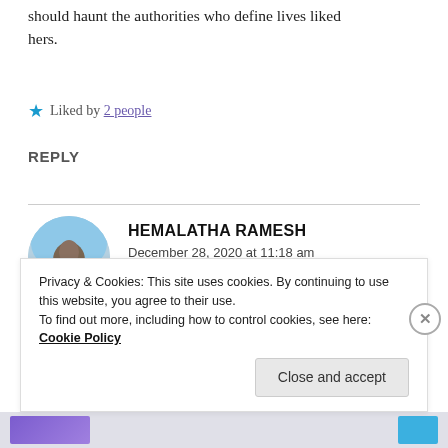should haunt the authorities who define lives liked hers.
★ Liked by 2 people
REPLY
[Figure (photo): Circular avatar photo of a person against a blue sky background]
HEMALATHA RAMESH
December 28, 2020 at 11:18 am
I wish it does.
Privacy & Cookies: This site uses cookies. By continuing to use this website, you agree to their use.
To find out more, including how to control cookies, see here: Cookie Policy
Close and accept